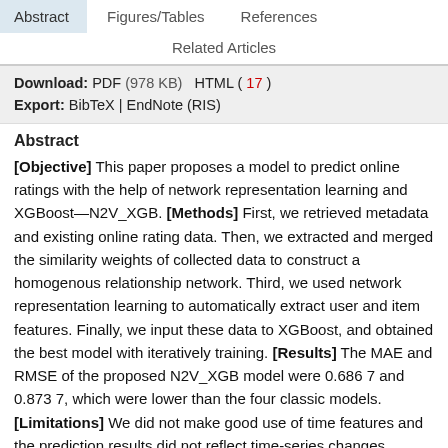Abstract | Figures/Tables | References | Related Articles
Download: PDF (978 KB)   HTML ( 17 )
Export: BibTeX | EndNote (RIS)
Abstract
[Objective] This paper proposes a model to predict online ratings with the help of network representation learning and XGBoost—N2V_XGB. [Methods] First, we retrieved metadata and existing online rating data. Then, we extracted and merged the similarity weights of collected data to construct a homogenous relationship network. Third, we used network representation learning to automatically extract user and item features. Finally, we input these data to XGBoost, and obtained the best model with iteratively training. [Results] The MAE and RMSE of the proposed N2V_XGB model were 0.686 7 and 0.873 7, which were lower than the four classic models. [Limitations] We did not make good use of time features and the prediction results did not reflect time-series changes. [Conclusions] The proposed N2V_XGB model effectively address the data sparseness issues and improve the prediction accuracy of user ratings.